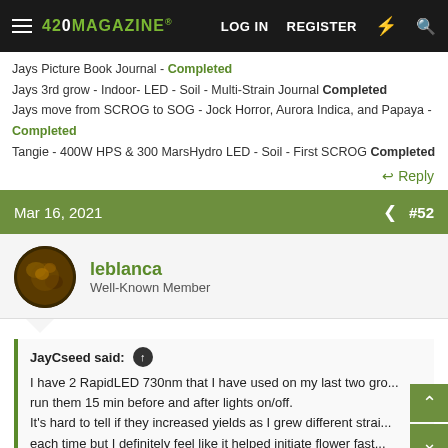420 MAGAZINE | LOG IN | REGISTER
Jays Picture Book Journal - Completed
Jays 3rd grow - Indoor- LED - Soil - Multi-Strain Journal Completed
Jays move from SCROG to SOG - Jock Horror, Aurora Indica, and Papaya - Completed
Tangie - 400W HPS & 300 MarsHydro LED - Soil - First SCROG Completed
↩ Reply
Mar 16, 2021 #52
leblanca
Well-Known Member
JayCseed said: ↑
I have 2 RapidLED 730nm that I have used on my last two gro... run them 15 min before and after lights on/off.
It's hard to tell if they increased yields as I grew different strai... each time but I definitely feel like it helped initiate flower fast...